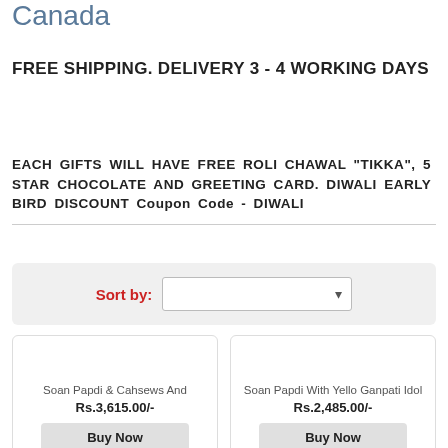Canada
FREE SHIPPING. DELIVERY 3 - 4 WORKING DAYS
EACH GIFTS WILL HAVE FREE ROLI CHAWAL "TIKKA", 5 STAR CHOCOLATE AND GREETING CARD. DIWALI EARLY BIRD DISCOUNT Coupon Code - DIWALI
Sort by:
Soan Papdi & Cahsews And
Rs.3,615.00/-
Buy Now
Soan Papdi With Yello Ganpati Idol
Rs.2,485.00/-
Buy Now